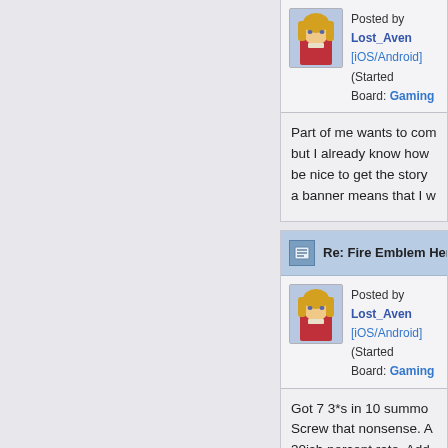Posted by Lost_Aven [iOS/Android] (Started Board: Gaming
Part of me wants to com but I already know how be nice to get the story a banner means that I w
Re: Fire Emblem Heroe
Posted by Lost_Aven [iOS/Android] (Started Board: Gaming
Got 7 3*s in 10 summo Screw that nonsense. A 30ish percent rate. Add banner I summoned one that isnt coming in